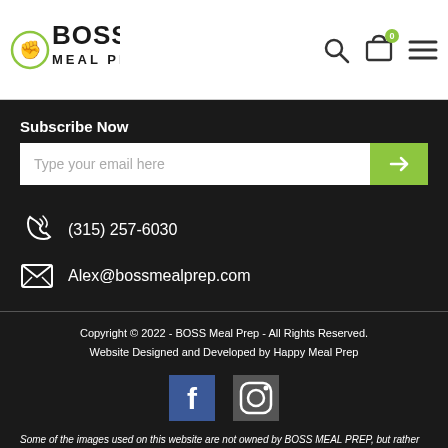[Figure (logo): BOSS MEAL PREP logo with fist icon]
[Figure (infographic): Search icon, cart icon with 0 badge, hamburger menu icon in header]
Subscribe Now
Type your email here
(315) 257-6030
Alex@bossmealprep.com
Copyright © 2022 - BOSS Meal Prep - All Rights Reserved. Website Designed and Developed by Happy Meal Prep
[Figure (infographic): Facebook and Instagram social media icons]
Some of the images used on this website are not owned by BOSS MEAL PREP, but rather representations of the food. The products and services sold by BOSS MEAL PREP do not guarantee weight loss. You